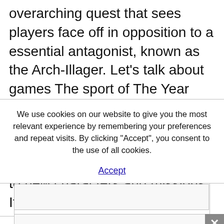overarching quest that sees players face off in opposition to a essential antagonist, known as the Arch-Illager. Let's talk about games The sport of The Year Version additionally contains The city That Never Sleeps DLC, which features three put up-launch story chapters, in addition to new characters and missions. If you are then
We use cookies on our website to give you the most relevant experience by remembering your preferences and repeat visits. By clicking "Accept", you consent to the use of all cookies.
Accept